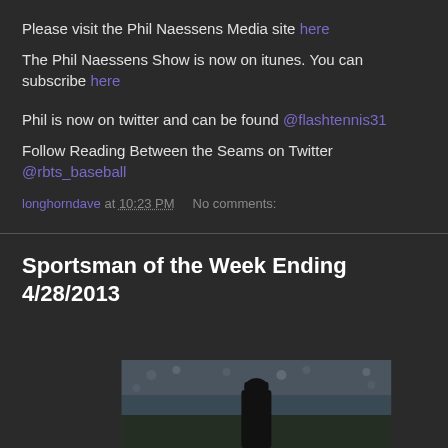Please visit the Phil Naessens Media site here
The Phil Naessens Show is now on itunes. You can subscribe here
Phil is now on twitter and can be found @flashtennis31
Follow Reading Between the Seams on Twitter @rbts_baseball
longhorndave at 10:23 PM   No comments:
Sportsman of the Week Ending 4/28/2013
[Figure (photo): Baseball pitcher on field with crowd in background]